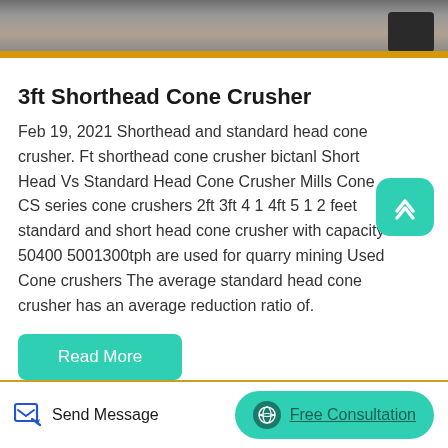[Figure (photo): Top portion of a photo showing industrial flooring or a crusher machine with a yellow stripe visible at bottom right and dark machinery on the right side]
3ft Shorthead Cone Crusher
Feb 19, 2021 Shorthead and standard head cone crusher. Ft shorthead cone crusher bictanl Short Head Vs Standard Head Cone Crusher Mills Cone CS series cone crushers 2ft 3ft 4 1 4ft 5 1 2 feet standard and short head cone crusher with capacity 50400 5001300tph are used for quarry mining Used Cone crushers The average standard head cone crusher has an average reduction ratio of.
Read More
Send Message   Free Consultation